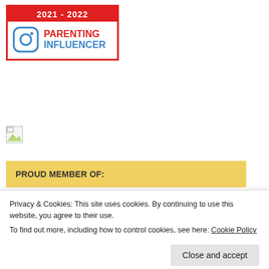[Figure (logo): 2021-2022 Parenting Influencer badge with Instagram icon. Red top bar with white text '2021 - 2022', red border box with blue Instagram camera icon and red 'PARENTING' / blue 'INFLUENCER' text.]
[Figure (other): Broken image placeholder (small)]
PROUD MEMBER OF:
Just Click To Send A Vote For Us @ Top Mommy Blogs
[Figure (other): Broken image placeholder with border rectangle]
Privacy & Cookies: This site uses cookies. By continuing to use this website, you agree to their use.
To find out more, including how to control cookies, see here: Cookie Policy
Close and accept